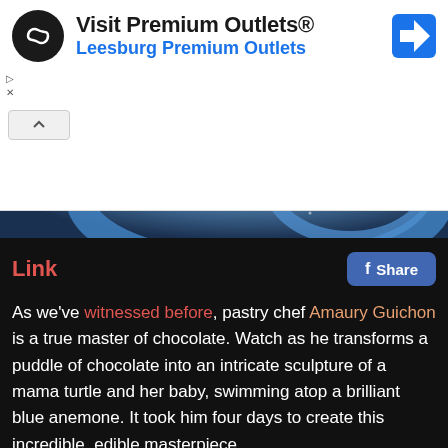[Figure (screenshot): Advertisement banner for 'Visit Premium Outlets® Leesburg Premium Outlets' with a circular black logo with infinity-like symbol, blue navigation arrow icon on right, and navigation controls on left.]
[Figure (photo): Close-up photo of a blue and brown chocolate sculpture shaped like turtles and anemone, with swirling blue forms and decorative details.]
Link
As we've witnessed before, pastry chef Amaury Guichon is a true master of chocolate. Watch as he transforms a puddle of chocolate into an intricate sculpture of a mama turtle and her baby, swimming atop a brilliant blue anemone. It took him four days to create this incredible, edible masterpiece.